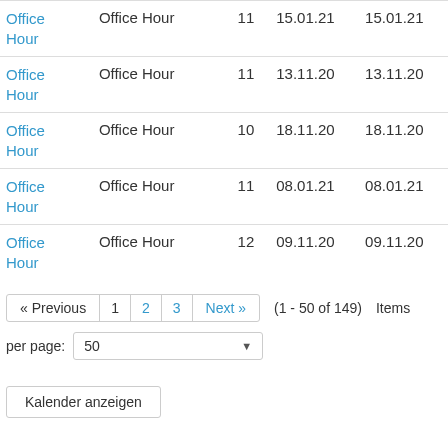| Name | Type | Num | Date1 | Date2 |
| --- | --- | --- | --- | --- |
| Office Hour | Office Hour | 11 | 15.01.21 | 15.01.21 |
| Office Hour | Office Hour | 11 | 13.11.20 | 13.11.20 |
| Office Hour | Office Hour | 10 | 18.11.20 | 18.11.20 |
| Office Hour | Office Hour | 11 | 08.01.21 | 08.01.21 |
| Office Hour | Office Hour | 12 | 09.11.20 | 09.11.20 |
« Previous  1  2  3  Next »  (1 - 50 of 149)  Items per page: 50
Kalender anzeigen